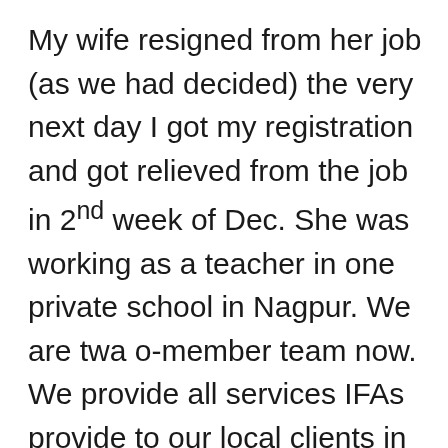My wife resigned from her job (as we had decided) the very next day I got my registration and got relieved from the job in 2nd week of Dec. She was working as a teacher in one private school in Nagpur. We are twa o-member team now. We provide all services IFAs provide to our local clients in addition to the unbiased commission-free advice. The fee is for my availability for a year and not only for financial planning. Since I was a full time mutual fund distributor before becoming an RIA, I have